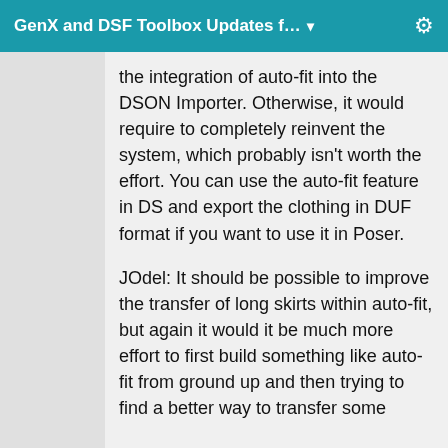GenX and DSF Toolbox Updates f… ▾
the integration of auto-fit into the DSON Importer. Otherwise, it would require to completely reinvent the system, which probably isn't worth the effort. You can use the auto-fit feature in DS and export the clothing in DUF format if you want to use it in Poser.
JOdel: It should be possible to improve the transfer of long skirts within auto-fit, but again it would it be much more effort to first build something like auto-fit from ground up and then trying to find a better way to transfer some